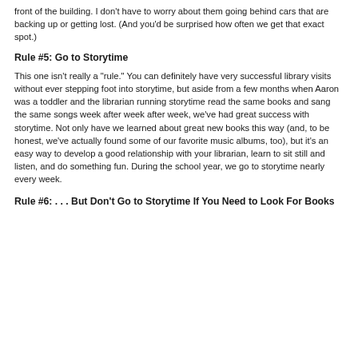front of the building. I don't have to worry about them going behind cars that are backing up or getting lost. (And you'd be surprised how often we get that exact spot.)
Rule #5: Go to Storytime
This one isn't really a "rule." You can definitely have very successful library visits without ever stepping foot into storytime, but aside from a few months when Aaron was a toddler and the librarian running storytime read the same books and sang the same songs week after week after week, we've had great success with storytime. Not only have we learned about great new books this way (and, to be honest, we've actually found some of our favorite music albums, too), but it's an easy way to develop a good relationship with your librarian, learn to sit still and listen, and do something fun. During the school year, we go to storytime nearly every week.
Rule #6: . . . But Don't Go to Storytime If You Need to Look For Books